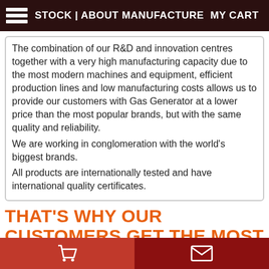STOCK | ABOUT MANUFACTURE MY CART
The combination of our R&D and innovation centres together with a very high manufacturing capacity due to the most modern machines and equipment, efficient production lines and low manufacturing costs allows us to provide our customers with Gas Generator at a lower price than the most popular brands, but with the same quality and reliability.
We are working in conglomeration with the world's biggest brands.
All products are internationally tested and have international quality certificates.
THAT'S WHY OUR CUSTOMERS GET THE MOST INNOVATIVE AND RELIABLE MACHINERY AT THE LOWEST POSSIBLE PRICE.
Here are the key specifications for this product model.